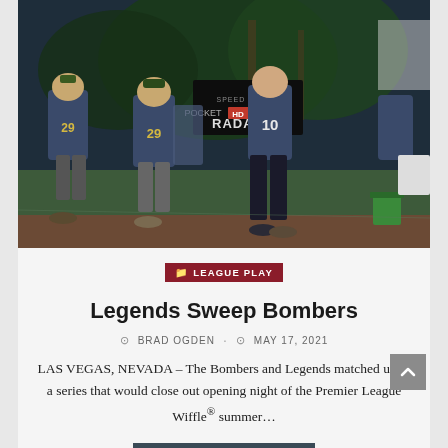[Figure (photo): Outdoor night sports scene showing players in blue and gold uniforms numbered 29 and 10 on a turf field. A Pocket Radar speed sign is visible in the background along with palm trees.]
LEAGUE PLAY
Legends Sweep Bombers
BRAD OGDEN · MAY 17, 2021
LAS VEGAS, NEVADA – The Bombers and Legends matched up in a series that would close out opening night of the Premier League Wiffle® summer…
CONTINUE READING ▶